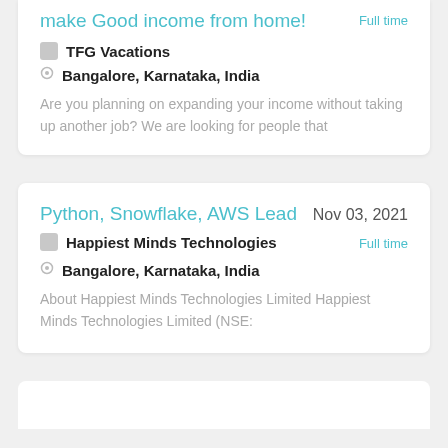make Good income from home!
Full time
TFG Vacations
Bangalore, Karnataka, India
Are you planning on expanding your income without taking up another job? We are looking for people that
Python, Snowflake, AWS Lead
Nov 03, 2021
Full time
Happiest Minds Technologies
Bangalore, Karnataka, India
About Happiest Minds Technologies Limited Happiest Minds Technologies Limited (NSE: